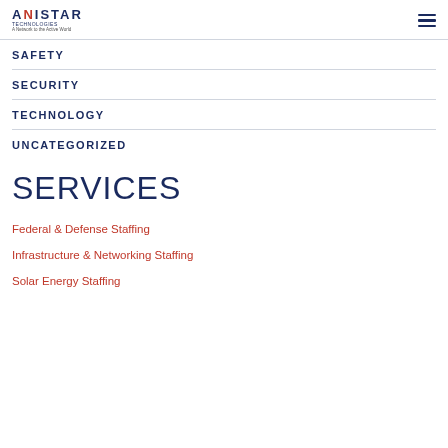ANISTAR TECHNOLOGIES - A Network to the Active World
SAFETY
SECURITY
TECHNOLOGY
UNCATEGORIZED
SERVICES
Federal & Defense Staffing
Infrastructure & Networking Staffing
Solar Energy Staffing